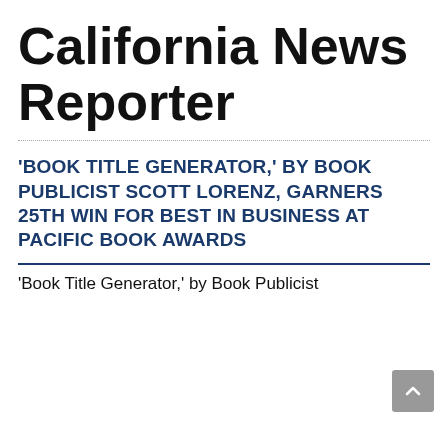California News Reporter
'BOOK TITLE GENERATOR,' BY BOOK PUBLICIST SCOTT LORENZ, GARNERS 25TH WIN FOR BEST IN BUSINESS AT PACIFIC BOOK AWARDS
'Book Title Generator,' by Book Publicist